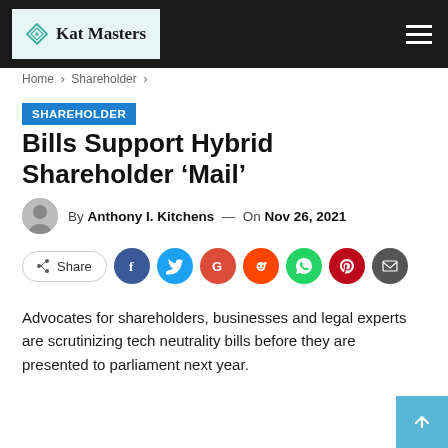Kat Masters
Home > Shareholder >
SHAREHOLDER
Bills Support Hybrid Shareholder ‘Mail’
By Anthony I. Kitchens — On Nov 26, 2021
[Figure (infographic): Social share buttons: Share, Facebook, Twitter, Google, Reddit, WhatsApp, Pinterest, Email]
Advocates for shareholders, businesses and legal experts are scrutinizing tech neutrality bills before they are presented to parliament next year.